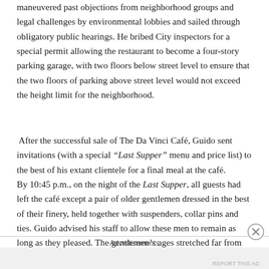maneuvered past objections from neighborhood groups and legal challenges by environmental lobbies and sailed through obligatory public hearings. He bribed City inspectors for a special permit allowing the restaurant to become a four-story parking garage, with two floors below street level to ensure that the two floors of parking above street level would not exceed the height limit for the neighborhood.
After the successful sale of The Da Vinci Café, Guido sent invitations (with a special “Last Supper” menu and price list) to the best of his extant clientele for a final meal at the café.
By 10:45 p.m., on the night of the Last Supper, all guests had left the café except a pair of older gentlemen dressed in the best of their finery, held together with suspenders, collar pins and ties. Guido advised his staff to allow these men to remain as long as they pleased. The gentlemen’s ages stretched far from their original attachments to a placenta to their curren
Advertisements